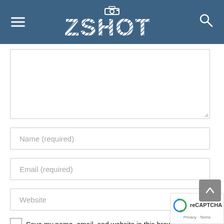[Figure (logo): ZSHOT website header with hamburger menu icon on left, ZSHOT logo with camera icon in center, and search icon on right, on a steel blue background]
[Figure (screenshot): Web form with textarea (comment box), Name (required) input, Email (required) input, Website input, a scroll-to-top button, a checkbox, and text reading 'Save my name, email, and website in this browser for the next time I comment.' A reCAPTCHA Privacy-Terms badge is visible in the bottom right corner.]
Save my name, email, and website in this browser for the next time I comment.